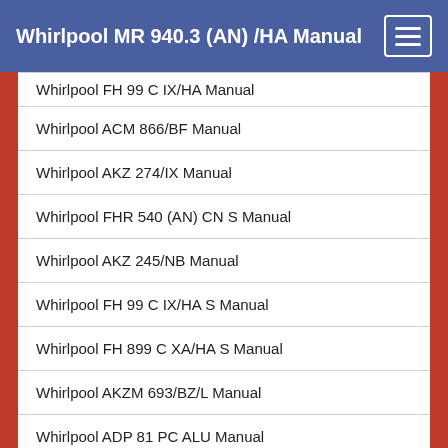Whirlpool MR 940.3 (AN) /HA Manual
Whirlpool FH 99 C IX/HA Manual
Whirlpool ACM 866/BF Manual
Whirlpool AKZ 274/IX Manual
Whirlpool FHR 540 (AN) CN S Manual
Whirlpool AKZ 245/NB Manual
Whirlpool FH 99 C IX/HA S Manual
Whirlpool FH 899 C XA/HA S Manual
Whirlpool AKZM 693/BZ/L Manual
Whirlpool ADP 81 PC ALU Manual
Whirlpool ACM 912/BF Manual